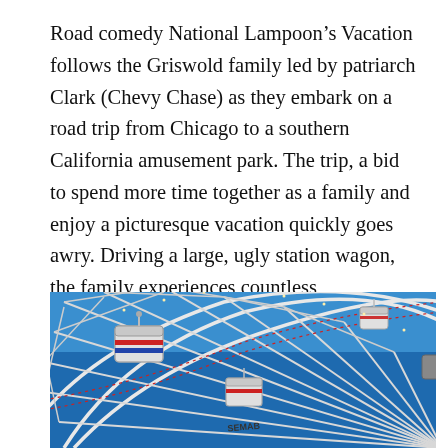Road comedy National Lampoon's Vacation follows the Griswold family led by patriarch Clark (Chevy Chase) as they embark on a road trip from Chicago to a southern California amusement park. The trip, a bid to spend more time together as a family and enjoy a picturesque vacation quickly goes awry. Driving a large, ugly station wagon, the family experiences countless misadventures along the way.
[Figure (photo): Photo of a Ferris wheel shot from below against a bright blue sky, showing white metal struts, gondola cars, and decorative lights.]